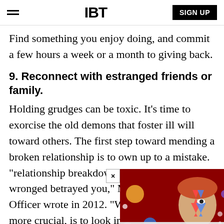IBT   SIGN UP
Find something you enjoy doing, and commit a few hours a week or a month to giving back.
9. Reconnect with estranged friends or family.
Holding grudges can be toxic. It’s time to exorcise the old demons that foster ill will toward others. The first step toward mending a broken relationship is to own up to a mistake. “ relationship breakdown is t other of how they wronged betrayed you,” Mike Wasile of Law Officer wrote in 2012. “What's harder, but more crucial, is to look in the mirror first and
[Figure (screenshot): IBT video popup overlay showing a stylized face (Ziggy Stardust style) on red background with planets, with top bar showing IBT logo and three-dot menu, and caption 'New SpiderGenus,Severa...' A close button X appears at top left of popup.]